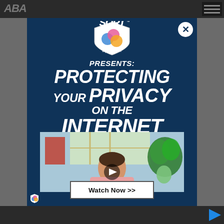[Figure (logo): SORT by Parion shield logo with colorful orbs (blue, pink, orange) inside a shield shape, with 'By Parion' text below]
PRESENTS:
PROTECTING YOUR PRIVACY ON THE INTERNET
[Figure (screenshot): Video thumbnail showing a man in a pink sweater sitting at a laptop in a living room setting with plants and windows in the background, with a play button overlay]
Watch Now >>